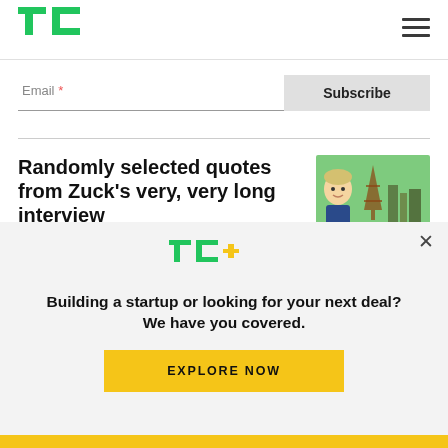[Figure (logo): TechCrunch TC green logo in top left header]
[Figure (illustration): Hamburger menu icon (three horizontal lines) in top right header]
Email *
Subscribe
Randomly selected quotes from Zuck’s very, very long interview
[Figure (illustration): Thumbnail image of a 3D animated avatar in front of Eiffel Tower in a metaverse/virtual world setting]
[Figure (logo): TC+ logo (TechCrunch Plus) in green and yellow text]
Building a startup or looking for your next deal? We have you covered.
EXPLORE NOW